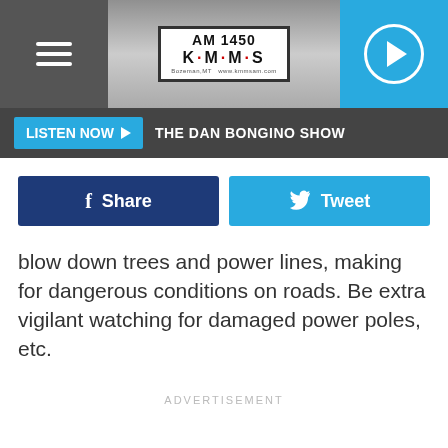[Figure (logo): AM 1450 KMMS radio station logo with play button and hamburger menu in header bar]
THE DAN BONGINO SHOW
Share
Tweet
blow down trees and power lines, making for dangerous conditions on roads. Be extra vigilant watching for damaged power poles, etc.
ADVERTISEMENT